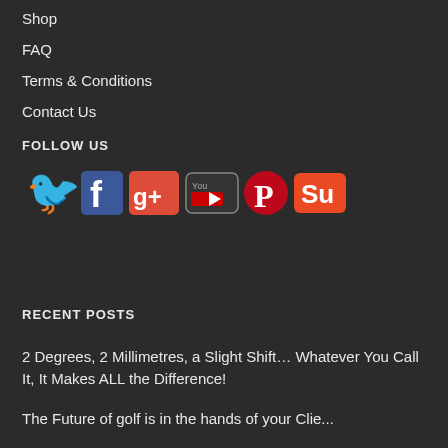Shop
FAQ
Terms & Conditions
Contact Us
FOLLOW US
[Figure (other): Social media icons: Twitter, Facebook, Google+, YouTube, Pinterest, StumbleUpon]
RECENT POSTS
2 Degrees, 2 Millimetres, a Slight Shift… Whatever You Call It, It Makes ALL the Difference!
The Future of golf is in the hands of your Clie...